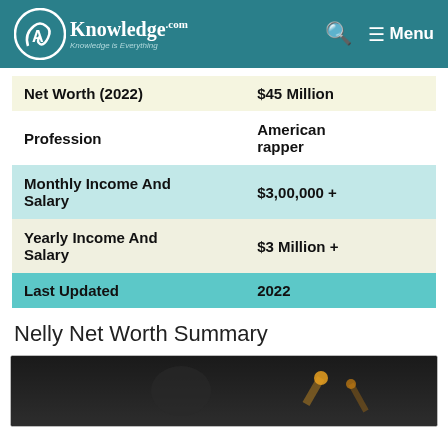AKnowledge.com — Knowledge is Everything | Menu
|  |  |
| --- | --- |
| Net Worth (2022) | $45 Million |
| Profession | American rapper |
| Monthly Income And Salary | $3,00,000 + |
| Yearly Income And Salary | $3 Million + |
| Last Updated | 2022 |
Nelly Net Worth Summary
[Figure (photo): Photo of Nelly performing, dark background with stage lights]